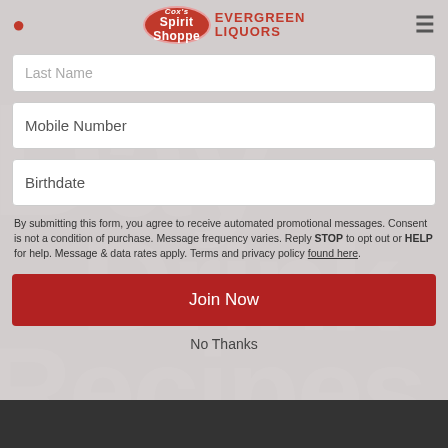[Figure (screenshot): Website screenshot showing a modal signup form overlay for Cox's Spirit Shoppe / Evergreen Liquors over a 'Day Drink Recipes' background. Modal contains Mobile Number field, Birthdate field, legal consent text, a red Join Now button, and a No Thanks link.]
Mobile Number
Birthdate
By submitting this form, you agree to receive automated promotional messages. Consent is not a condition of purchase. Message frequency varies. Reply STOP to opt out or HELP for help. Message & data rates apply. Terms and privacy policy found here.
Join Now
No Thanks